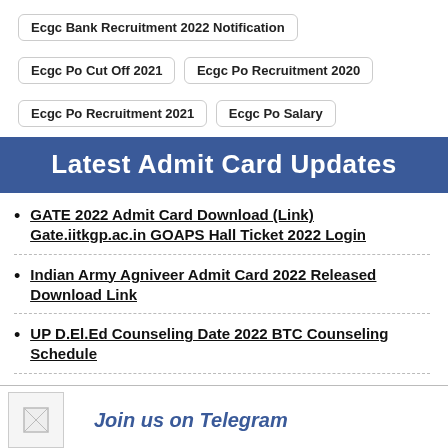Ecgc Bank Recruitment 2022 Notification
Ecgc Po Cut Off 2021
Ecgc Po Recruitment 2020
Ecgc Po Recruitment 2021
Ecgc Po Salary
Latest Admit Card Updates
GATE 2022 Admit Card Download (Link) Gate.iitkgp.ac.in GOAPS Hall Ticket 2022 Login
Indian Army Agniveer Admit Card 2022 Released Download Link
UP D.El.Ed Counseling Date 2022 BTC Counseling Schedule
BSF Group B Admit Card 2022 Inspector, SI, JE Exam Date,
Join us on Telegram